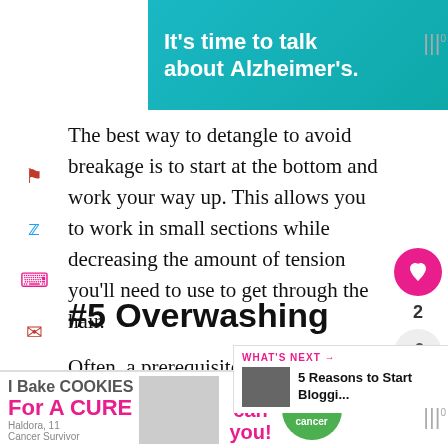[Figure (other): Advertisement banner: teal background with text 'It's time to talk about Alzheimer's.' with a 'LEARN MORE' button and Alzheimer's Association logo]
The best way to detangle to avoid breakage is to start at the bottom and work your way up. This allows you to work in small sections while decreasing the amount of tension you'll need to use to get through the hair.
#5 Overwashing
Often, a prerequisite to serious breakage is having very very dry hair. Those wi… naturally curly hair often have more b…
[Figure (other): 'WHAT'S NEXT' sidebar showing '5 Reasons to Start Bloggi...' with thumbnail image]
[Figure (other): Advertisement banner: 'I Bake COOKIES For A CURE - Haldora, 11 Cancer Survivor - So can you! - cookies for kids cancer']